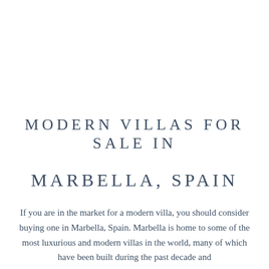MODERN VILLAS FOR SALE IN
MARBELLA, SPAIN
If you are in the market for a modern villa, you should consider buying one in Marbella, Spain. Marbella is home to some of the most luxurious and modern villas in the world, many of which have been built during the past decade and